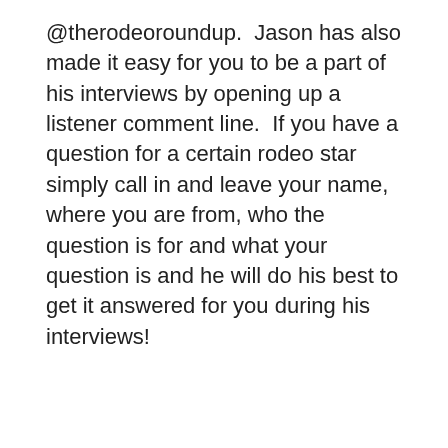@therodeoroundup.  Jason has also made it easy for you to be a part of his interviews by opening up a listener comment line.  If you have a question for a certain rodeo star simply call in and leave your name, where you are from, who the question is for and what your question is and he will do his best to get it answered for you during his interviews!